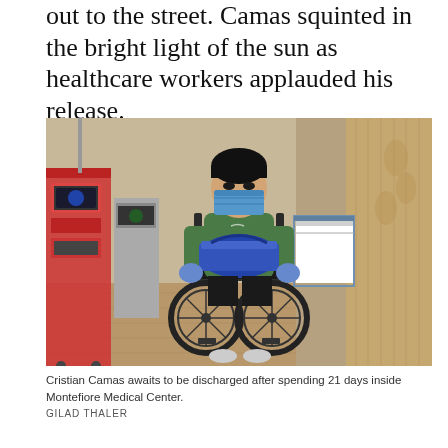out to the street. Camas squinted in the bright light of the sun as healthcare workers applauded his release.
[Figure (photo): Cristian Camas, a man wearing a blue surgical mask and a green hoodie, sits in a wheelchair inside a hospital room. He holds a blue bag on his lap and wears blue gloves. Medical equipment is visible to the left, and an empty hospital bed with white sheets is visible to the right. The floor is light wood-colored.]
Cristian Camas awaits to be discharged after spending 21 days inside Montefiore Medical Center.
GILAD THALER
“It took five long and tough weeks, and I am so lucky...